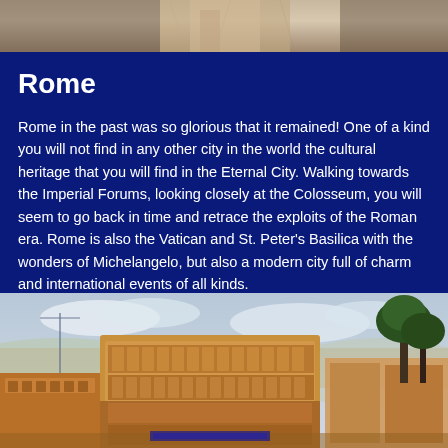[Figure (photo): Partial view of a classical sculpture torso, cropped at top of page]
Rome
Rome in the past was so glorious that it remained! One of a kind you will not find in any other city in the world the cultural heritage that you will find in the Eternal City. Walking towards the Imperial Forums, looking closely at the Colosseum, you will seem to go back in time and retrace the exploits of the Roman era. Rome is also the Vatican and St. Peter’s Basilica with the wonders of Michelangelo, but also a modern city full of charm and international events of all kinds.
[Figure (photo): Panoramic view of Rome showing the Colosseum and Roman Forum ruins with umbrella pine trees]